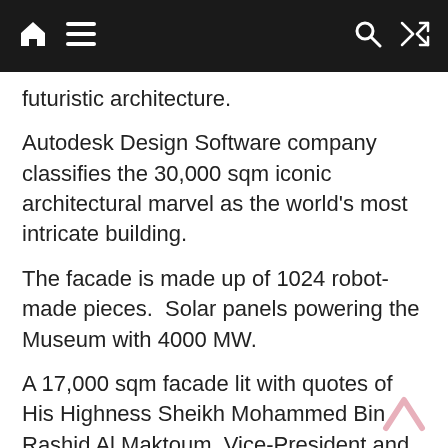Navigation bar with home, menu, search, and shuffle icons
futuristic architecture.
Autodesk Design Software company classifies the 30,000 sqm iconic architectural marvel as the world’s most intricate building.
The facade is made up of 1024 robot-made pieces.  Solar panels powering the Museum with 4000 MW.
A 17,000 sqm facade lit with quotes of His Highness Sheikh Mohammed Bin Rashid Al Maktoum, Vice-President and Prime Minister of the UAE and Ruler of Dubai. The quotes by His Highness Sheikh Mohammed Bin Rashid include:
“We may not live for hundreds of years, but the